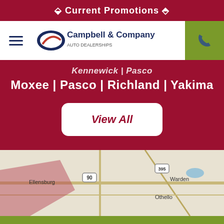⬙ Current Promotions ⬘
[Figure (logo): Campbell & Company logo with hamburger menu and phone button]
Kennewick | Pasco
Moxee | Pasco | Richland | Yakima
View All
[Figure (map): Regional map showing Ellensburg, Warden, Othello area with pink shaded service region and highway markers including 90 and 395]
Schedule A Service